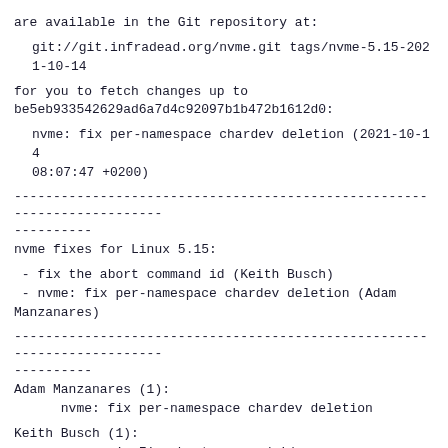are available in the Git repository at:
git://git.infradead.org/nvme.git tags/nvme-5.15-2021-10-14
for you to fetch changes up to
be5eb933542629ad6a7d4c92097b1b472b1612d0:
nvme: fix per-namespace chardev deletion (2021-10-14 08:07:47 +0200)
------------------------------------------------------------------------
----------
nvme fixes for Linux 5.15:
- fix the abort command id (Keith Busch)
- nvme: fix per-namespace chardev deletion (Adam Manzanares)
------------------------------------------------------------------------
----------
Adam Manzanares (1):
      nvme: fix per-namespace chardev deletion
Keith Busch (1):
      nvme-pci: Fix abort command id
drivers/nvme/host/core.c      | 21 ++++++++++++--------
 --